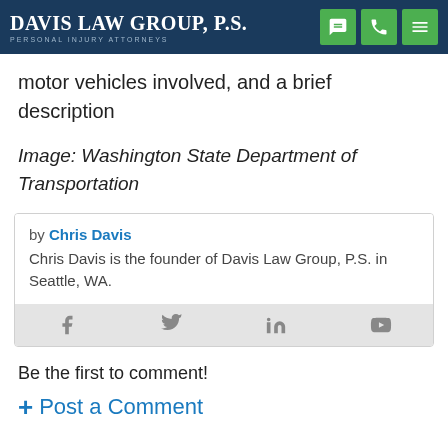Davis Law Group, P.S. — Personal Injury Attorneys
motor vehicles involved, and a brief description
Image: Washington State Department of Transportation
by Chris Davis
Chris Davis is the founder of Davis Law Group, P.S. in Seattle, WA.
Be the first to comment!
+ Post a Comment